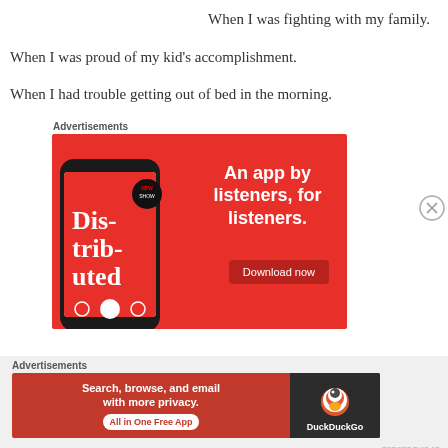When I was fighting with my family.
When I was proud of my kid's accomplishment.
When I had trouble getting out of bed in the morning.
Advertisements
[Figure (infographic): Pocket app advertisement on red background showing a smartphone with 'Dis-trib-uted' podcast, with text 'An app by listeners, for listeners.' and a 'Download now' button.]
Advertisements
[Figure (infographic): DuckDuckGo advertisement with text 'Search, browse, and email with more privacy. All in One Free App' and DuckDuckGo logo on dark background.]